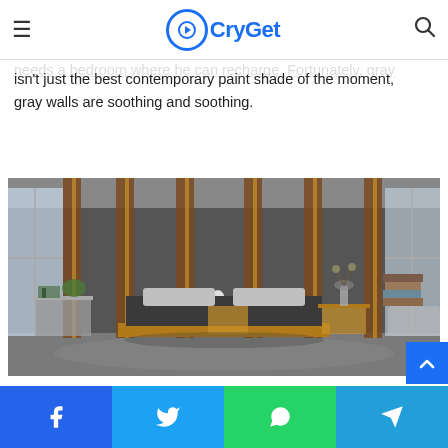CryGet
If you choose gray as your favorite, you like the minimalist tech gadgets. He works hard and needs a bedroom where he can recharge. Fortunately, gray isn't just the best contemporary paint shade of the moment, gray walls are soothing and soothing.
[Figure (photo): Modern minimalist bedroom with dark gray wall featuring vertical wooden slat panels with gold accents. A low platform bed with gray bedding and pillows sits in the center. Wooden side tables with books and a vase flank the bed. A plant and stacked books are on the left side table. Natural light comes from windows on both sides.]
Facebook | Twitter | WhatsApp | Telegram share buttons